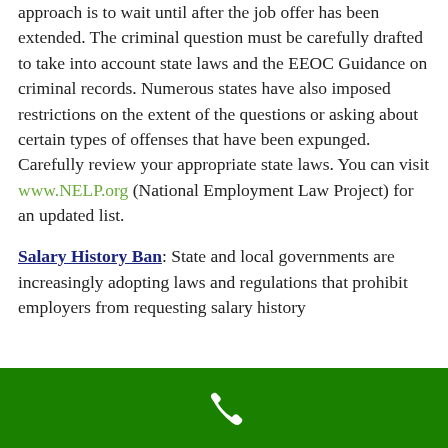approach is to wait until after the job offer has been extended. The criminal question must be carefully drafted to take into account state laws and the EEOC Guidance on criminal records. Numerous states have also imposed restrictions on the extent of the questions or asking about certain types of offenses that have been expunged. Carefully review your appropriate state laws. You can visit www.NELP.org (National Employment Law Project) for an updated list.
Salary History Ban: State and local governments are increasingly adopting laws and regulations that prohibit employers from requesting salary history…
[Figure (other): Green footer bar with white telephone/phone icon centered]